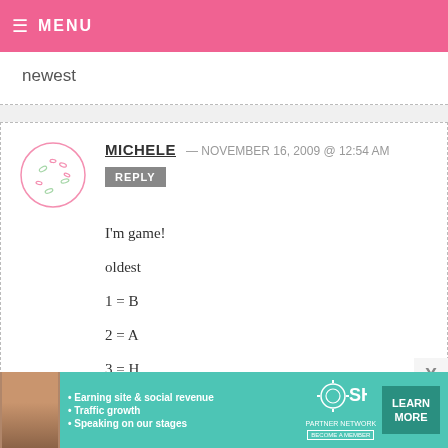MENU
newest
MICHELE — NOVEMBER 16, 2009 @ 12:54 AM
REPLY
I'm game!

oldest

1 = B

2 = A

3 = H

4 = F

5 = C
[Figure (other): Ad banner for SHE Partner Network with bullet points: Earning site & social revenue, Traffic growth, Speaking on our stages. LEARN MORE button.]